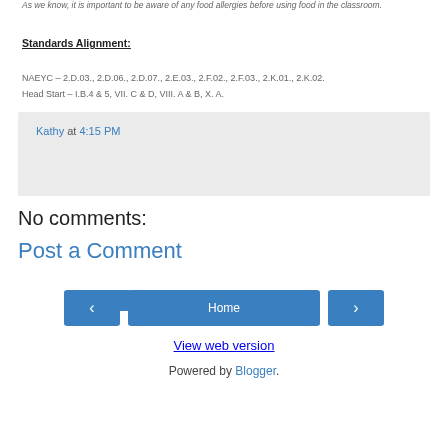As we know, it is important to be aware of any food allergies before using food in the classroom.
Standards Alignment:
NAEYC – 2.D.03., 2.D.06., 2.D.07., 2.E.03., 2.F.02., 2.F.03., 2.K.01., 2.K.02.
Head Start – I.B.4 & 5, VII. C & D, VIII. A & B, X. A.
Kathy at 4:15 PM
Share
No comments:
Post a Comment
Home
View web version
Powered by Blogger.